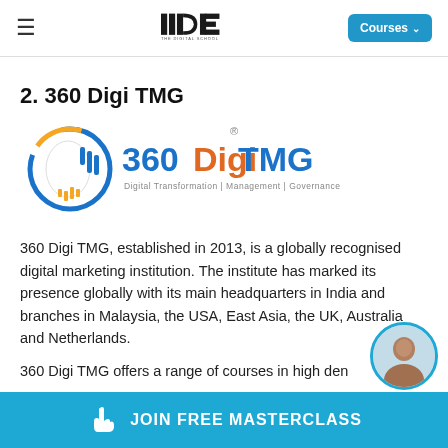IIDE – THE DIGITAL SCHOOL | Courses
2. 360 Digi TMG
[Figure (logo): 360 DigiTMG logo with colorful circular icon on the left and text '360 DigiTMG' in blue and orange, with tagline 'Digital Transformation | Management | Governance' and registered trademark symbol]
360 Digi TMG, established in 2013, is a globally recognised digital marketing institution. The institute has marked its presence globally with its main headquarters in India and branches in Malaysia, the USA, East Asia, the UK, Australia and Netherlands.
360 Digi TMG offers a range of courses in high den
JOIN FREE MASTERCLASS